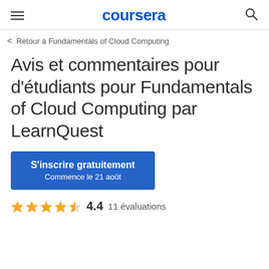coursera
< Retour à Fundamentals of Cloud Computing
Avis et commentaires pour d'étudiants pour Fundamentals of Cloud Computing par LearnQuest
S'inscrire gratuitement
Commence le 21 août
4.4  11 évaluations